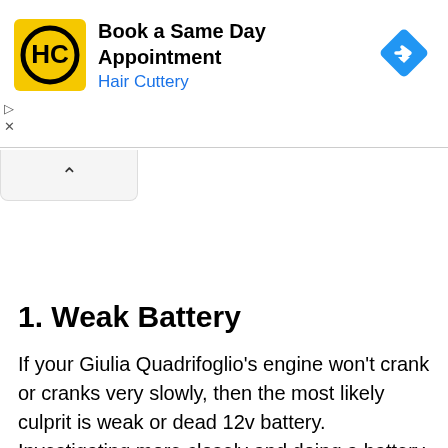[Figure (screenshot): Hair Cuttery advertisement banner with yellow HC logo, text 'Book a Same Day Appointment / Hair Cuttery', and a blue diamond navigation icon]
1. Weak Battery
If your Giulia Quadrifoglio's engine won't crank or cranks very slowly, then the most likely culprit is weak or dead 12v battery. Investigating more closely and doing a battery voltage test will clarify whether the starting problem is due to the battery. A test result below 12v means the readings show